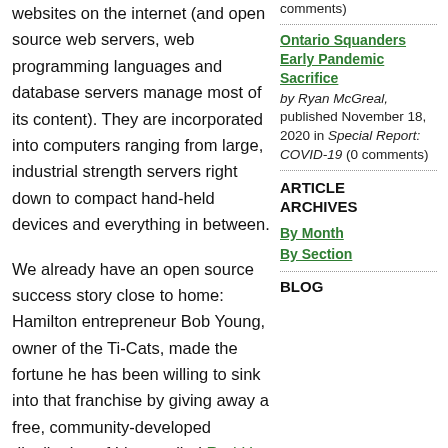websites on the internet (and open source web servers, web programming languages and database servers manage most of its content). They are incorporated into computers ranging from large, industrial strength servers right down to compact hand-held devices and everything in between.
We already have an open source success story close to home: Hamilton entrepreneur Bob Young, owner of the Ti-Cats, made the fortune he has been willing to sink into that franchise by giving away a free, community-developed distribution of Linux called Red Hat and selling customer support and quality assurance guarantees
comments)
Ontario Squanders Early Pandemic Sacrifice by Ryan McGreal, published November 18, 2020 in Special Report: COVID-19 (0 comments)
ARTICLE ARCHIVES
By Month By Section BLOG